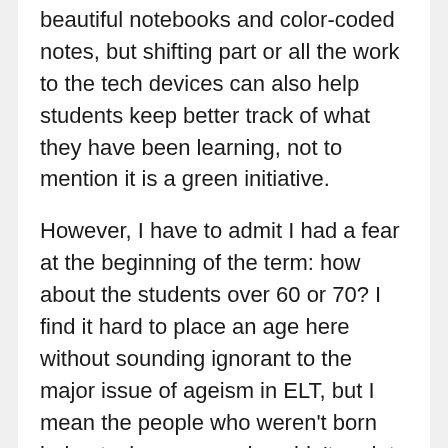beautiful notebooks and color-coded notes, but shifting part or all the work to the tech devices can also help students keep better track of what they have been learning, not to mention it is a green initiative.
However, I have to admit I had a fear at the beginning of the term: how about the students over 60 or 70? I find it hard to place an age here without sounding ignorant to the major issue of ageism in ELT, but I mean the people who weren't born being tech-savvy, and couldn't update their tech knowledge along the years. My biggest concern was them not being able to cope with dealing with technology and how to access the material which would be available to them on the Google Classroom.